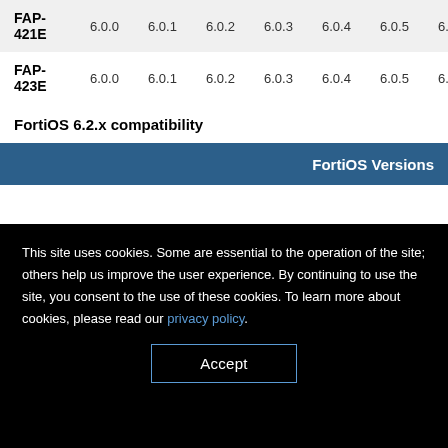| Model | 6.0.0 | 6.0.1 | 6.0.2 | 6.0.3 | 6.0.4 | 6.0.5 | 6.0.5 | 6.0.6 |
| --- | --- | --- | --- | --- | --- | --- | --- | --- |
| FAP-421E | 6.0.0 | 6.0.1 | 6.0.2 | 6.0.3 | 6.0.4 | 6.0.5 | 6.0.5 | 6.0.6 |
| FAP-423E | 6.0.0 | 6.0.1 | 6.0.2 | 6.0.3 | 6.0.4 | 6.0.5 | 6.0.5 | 6.0.6 |
FortiOS 6.2.x compatibility
[Figure (other): Blue header bar with text 'FortiOS Versions' partially visible]
This site uses cookies. Some are essential to the operation of the site; others help us improve the user experience. By continuing to use the site, you consent to the use of these cookies. To learn more about cookies, please read our privacy policy.